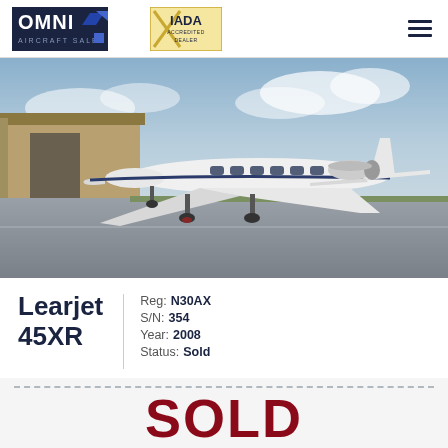OMNI AIRCRAFT SALES | IADA ACCREDITED DEALER
[Figure (photo): White Learjet 45XR aircraft parked on tarmac in front of a hangar building under cloudy skies]
Learjet 45XR
Reg: N30AX | S/N: 354 | Year: 2008 | Status: Sold
SOLD